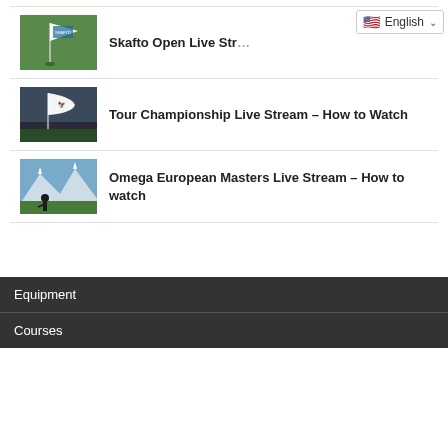[Figure (screenshot): Language selector dropdown showing English with US flag]
Skafto Open Live Str...
[Figure (photo): Golf flag on a course with green background]
Tour Championship Live Stream – How to Watch
[Figure (photo): White golf flag fluttering with dark sky background]
Omega European Masters Live Stream – How to watch
[Figure (photo): Golfer on course with mountain backdrop]
Equipment
Courses